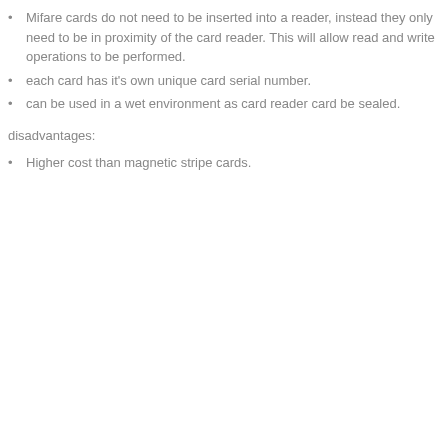Mifare cards do not need to be inserted into a reader, instead they only need to be in proximity of the card reader. This will allow read and write operations to be performed.
each card has it's own unique card serial number.
can be used in a wet environment as card reader card be sealed.
disadvantages:
Higher cost than magnetic stripe cards.